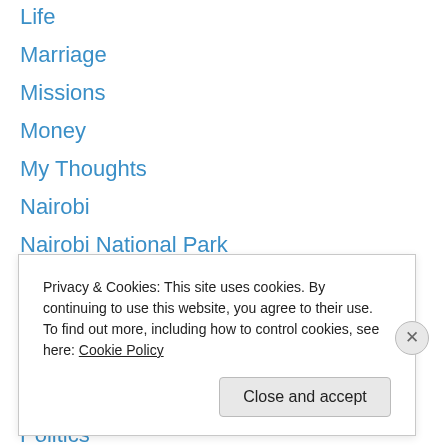Life
Marriage
Missions
Money
My Thoughts
Nairobi
Nairobi National Park
Nakuru
National Parks
New Zealand Travels
Parenting
Politics
Poverty
Relationships
Privacy & Cookies: This site uses cookies. By continuing to use this website, you agree to their use.
To find out more, including how to control cookies, see here: Cookie Policy